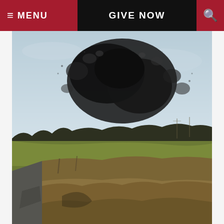MENU  GIVE NOW  [search]
[Figure (photo): A murmuration of starlings forming a large dark cloud formation in the sky above a flat countryside landscape with hedgerows, fields, and a road visible in the foreground.]
State of the Art Symposium on Collective Behavior March 20
Fri, 03/06/2020 – 9:53am
From the coordinated blinking of fireflies to the synchronized movement of flocks of birds or schools of fish and even the